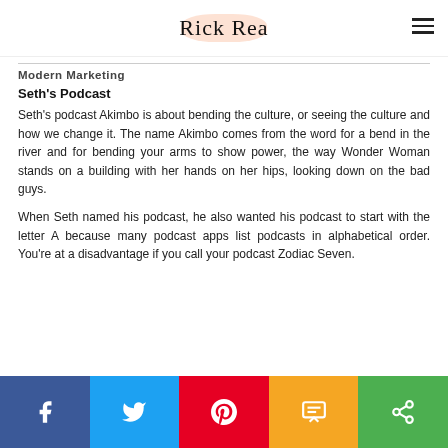Rick Rea
Modern Marketing
Seth's Podcast
Seth's podcast Akimbo is about bending the culture, or seeing the culture and how we change it. The name Akimbo comes from the word for a bend in the river and for bending your arms to show power, the way Wonder Woman stands on a building with her hands on her hips, looking down on the bad guys.
When Seth named his podcast, he also wanted his podcast to start with the letter A because many podcast apps list podcasts in alphabetical order. You're at a disadvantage if you call your podcast Zodiac Seven.
[Figure (infographic): Social share bar with five buttons: Facebook (blue), Twitter (light blue), Pinterest (red), SMS (yellow/orange), Share (green)]